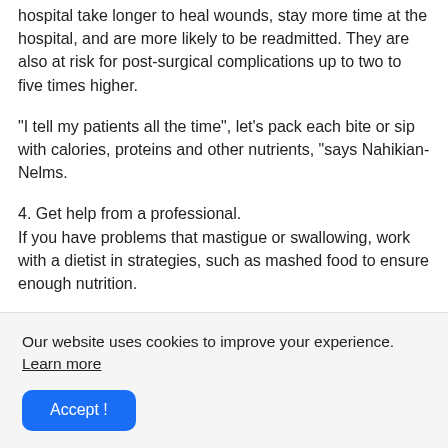hospital take longer to heal wounds, stay more time at the hospital, and are more likely to be readmitted. They are also at risk for post-surgical complications up to two to five times higher.
"I tell my patients all the time", let's pack each bite or sip with calories, proteins and other nutrients, "says Nahikian-Nelms.
4. Get help from a professional.
If you have problems that mastigue or swallowing, work with a dietist in strategies, such as mashed food to ensure enough nutrition.
Our website uses cookies to improve your experience. Learn more
Accept !